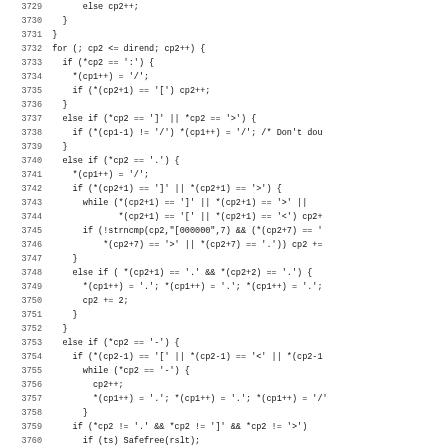[Figure (screenshot): Source code listing in C, lines 3729-3761, showing directory path processing logic with if/else branches for characters like ':', ']', '>', '.', and '-'.]